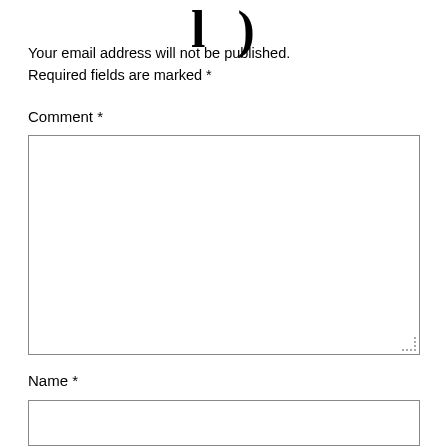l )
Your email address will not be published. Required fields are marked *
Comment *
[Figure (other): Empty comment textarea input box with resize handle]
Name *
[Figure (other): Empty name text input box]